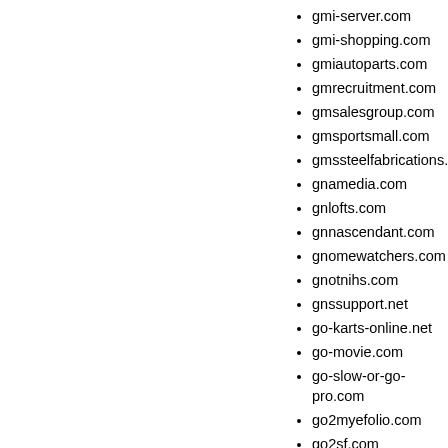gmi-server.com
gmi-shopping.com
gmiautoparts.com
gmrecruitment.com
gmsalesgroup.com
gmsportsmall.com
gmssteelfabrications.com
gnamedia.com
gnlofts.com
gnnascendant.com
gnomewatchers.com
gnotnihs.com
gnssupport.net
go-karts-online.net
go-movie.com
go-slow-or-go-pro.com
go2myefolio.com
go2sf.com
go2thatinsuranceguy.com
go4game.com
go4stats.com
goaapexmortgage.com
goaheadandmakemerich.com
goairwis.com
goairwis.net
gobeagles.com
gobeatindex.com
gobestmovers.com